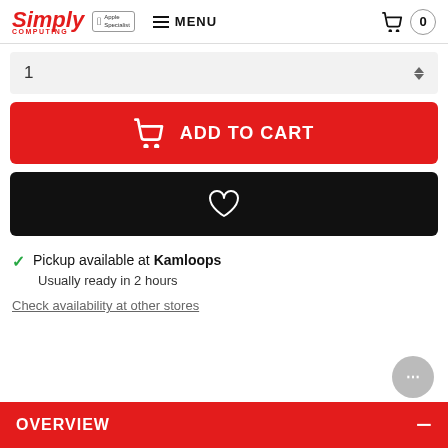Simply Computing | Apple Specialist | MENU | Cart 0
1
ADD TO CART
[Figure (illustration): Heart/wishlist icon on black background button]
Pickup available at Kamloops
Usually ready in 2 hours
Check availability at other stores
OVERVIEW